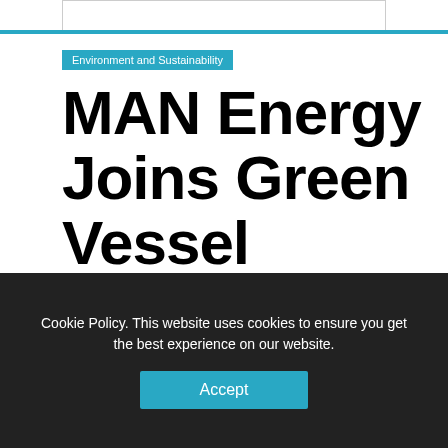Environment and Sustainability
MAN Energy Joins Green Vessel Coalition
September 23, 2019
By Jack Donnelly
TWITTER  FACEBOOK  LINKEDIN  EMAIL
Cookie Policy. This website uses cookies to ensure you get the best experience on our website.